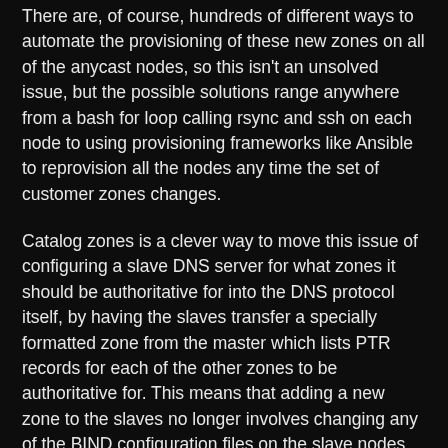There are, of course, hundreds of different ways to automate the provisioning of these new zones on all of the anycast nodes, so this isn't an unsolved issue, but the possible solutions range anywhere from a bash for loop calling rsync and ssh on each node to using provisioning frameworks like Ansible to reprovision all the nodes any time the set of customer zones changes.
Catalog zones is a clever way to move this issue of configuring a slave DNS server for what zones it should be authoritative for into the DNS protocol itself, by having the slaves transfer a specially formatted zone from the master which lists PTR records for each of the other zones to be authoritative for. This means that adding a new zone to the slaves no longer involves changing any of the BIND configuration files on the slave nodes and reloading, but instead is a DNS notify from the master that the catalog zone has changed, an AXFR of the catalog zone, and then parsing this zone to configure all of the zones to also transfer from the master. DNS is already a really